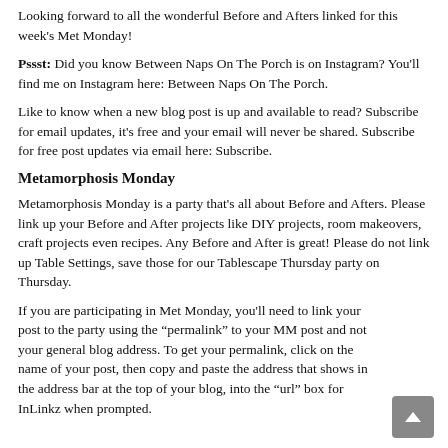Looking forward to all the wonderful Before and Afters linked for this week's Met Monday!
Pssst: Did you know Between Naps On The Porch is on Instagram? You'll find me on Instagram here: Between Naps On The Porch.
Like to know when a new blog post is up and available to read? Subscribe for email updates, it's free and your email will never be shared. Subscribe for free post updates via email here: Subscribe.
Metamorphosis Monday
Metamorphosis Monday is a party that's all about Before and Afters. Please link up your Before and After projects like DIY projects, room makeovers, craft projects even recipes. Any Before and After is great! Please do not link up Table Settings, save those for our Tablescape Thursday party on Thursday.
If you are participating in Met Monday, you'll need to link your post to the party using the “permalink” to your MM post and not your general blog address. To get your permalink, click on the name of your post, then copy and paste the address that shows in the address bar at the top of your blog, into the “url” box for InLinkz when prompted.